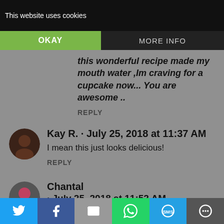This website uses cookies
OKAY   MORE INFO
this wonderful recipe made my mouth water ,Im craving for a cupcake now... You are awesome ..
REPLY
Kay R. · July 25, 2018 at 11:37 AM
I mean this just looks delicious!
REPLY
Chantal · July 25, 2018 at 11:52 AM
These look absolutely delicious!!! I'd
Twitter Facebook Email WhatsApp SMS More